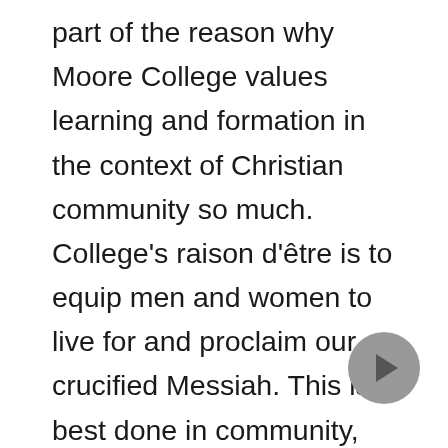part of the reason why Moore College values learning and formation in the context of Christian community so much. College's raison d'être is to equip men and women to live for and proclaim our crucified Messiah. This is best done in community, because it emulates the realities of what a lifetime of ministry will look like. Students study face to face, living together, laughing together, mourning together, forgiving and being forgiven, and forging relationships that last a lifetime. Things aren't always perfect; however, all of this is to build not only an ability to handle the whole counsel of God, but also resilience of Christian character. This is because the varied ministries students find themselves in are inevitably front of a discipline in the service of